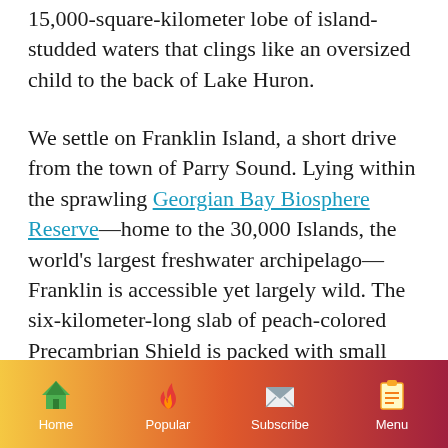15,000-square-kilometer lobe of island-studded waters that clings like an oversized child to the back of Lake Huron.
We settle on Franklin Island, a short drive from the town of Parry Sound. Lying within the sprawling Georgian Bay Biosphere Reserve—home to the 30,000 Islands, the world's largest freshwater archipelago—Franklin is accessible yet largely wild. The six-kilometer-long slab of peach-colored Precambrian Shield is packed with small lakes, draped with wind-skewed pines and
Home | Popular | Subscribe | Menu